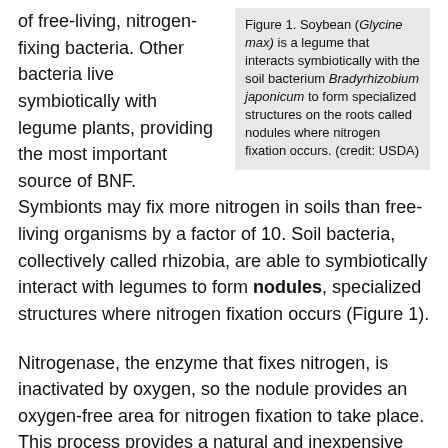Figure 1. Soybean (Glycine max) is a legume that interacts symbiotically with the soil bacterium Bradyrhizobium japonicum to form specialized structures on the roots called nodules where nitrogen fixation occurs. (credit: USDA)
of free-living, nitrogen-fixing bacteria. Other bacteria live symbiotically with legume plants, providing the most important source of BNF. Symbionts may fix more nitrogen in soils than free-living organisms by a factor of 10. Soil bacteria, collectively called rhizobia, are able to symbiotically interact with legumes to form nodules, specialized structures where nitrogen fixation occurs (Figure 1).
Nitrogenase, the enzyme that fixes nitrogen, is inactivated by oxygen, so the nodule provides an oxygen-free area for nitrogen fixation to take place. This process provides a natural and inexpensive plant fertilizer, as it reduces atmospheric nitrogen to